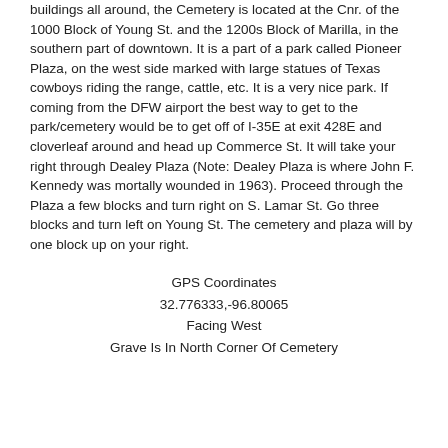buildings all around, the Cemetery is located at the Cnr. of the 1000 Block of Young St. and the 1200s Block of Marilla, in the southern part of downtown. It is a part of a park called Pioneer Plaza, on the west side marked with large statues of Texas cowboys riding the range, cattle, etc. It is a very nice park. If coming from the DFW airport the best way to get to the park/cemetery would be to get off of I-35E at exit 428E and cloverleaf around and head up Commerce St. It will take your right through Dealey Plaza (Note: Dealey Plaza is where John F. Kennedy was mortally wounded in 1963). Proceed through the Plaza a few blocks and turn right on S. Lamar St. Go three blocks and turn left on Young St. The cemetery and plaza will by one block up on your right.
GPS Coordinates
32.776333,-96.80065
Facing West
Grave Is In North Corner Of Cemetery